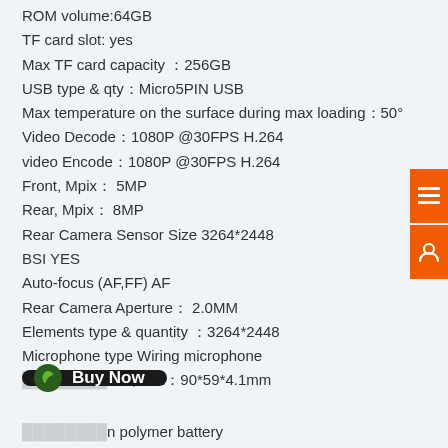ROM volume:64GB
TF card slot: yes
Max TF card capacity ：256GB
USB type & qty：Micro5PIN USB
Max temperature on the surface during max loading：50°
Video Decode：1080P @30FPS H.264
video Encode：1080P @30FPS H.264
Front, Mpix： 5MP
Rear, Mpix： 8MP
Rear Camera Sensor Size 3264*2448
BSI YES
Auto-focus (AF,FF) AF
Rear Camera Aperture： 2.0MM
Elements type & quantity ：3264*2448
Microphone type Wiring microphone
...WH, mm：90*59*4.1mm
...n polymer battery
Battery capacity, Wh：15.71Wh
Battery working voltage range, V： 4.4v/4.35v
Battery working range voltage capacity, mAh ： 3700mAh/3950mAh